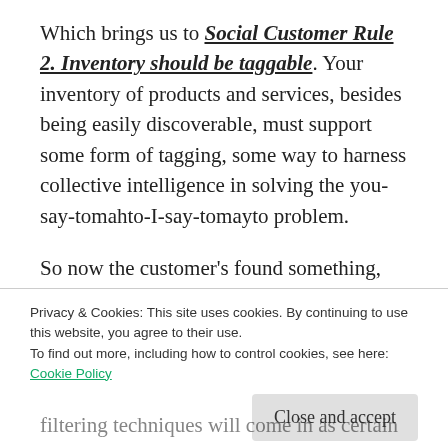Which brings us to Social Customer Rule 2. Inventory should be taggable. Your inventory of products and services, besides being easily discoverable, must support some form of tagging, some way to harness collective intelligence in solving the you-say-tomahto-I-say-tomayto problem.
So now the customer's found something, which may or may not be suitable. There are
Privacy & Cookies: This site uses cookies. By continuing to use this website, you agree to their use.
To find out more, including how to control cookies, see here:
Cookie Policy
filtering techniques will come in as certain people